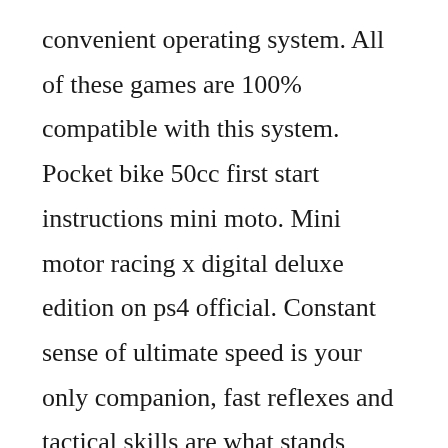convenient operating system. All of these games are 100% compatible with this system. Pocket bike 50cc first start instructions mini moto. Mini motor racing x digital deluxe edition on ps4 official. Constant sense of ultimate speed is your only companion, fast reflexes and tactical skills are what stands between victory and defeat. Grab your controller or strap on your vr headset and dive into the highoctane frenzy that is mini motor racing x. Here fans of the burnup will find many belt tracks and quite tough opponents facing with merit. The